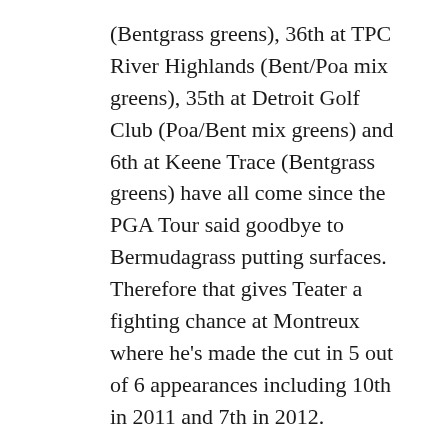(Bentgrass greens), 36th at TPC River Highlands (Bent/Poa mix greens), 35th at Detroit Golf Club (Poa/Bent mix greens) and 6th at Keene Trace (Bentgrass greens) have all come since the PGA Tour said goodbye to Bermudagrass putting surfaces. Therefore that gives Teater a fighting chance at Montreux where he's made the cut in 5 out of 6 appearances including 10th in 2011 and 7th in 2012.
At 174th in the FEC standings and with the Bermudagrass greens not suiting next week at the regular season closing Wyndham Championship, Josh could do with a top-5 finish to earn a spot in the 125-150 category for next season. That 7th in 2012 followed a 4th the previous week in Canada and Josh is not afraid to link consecutive top-10 finishes together when his putter is compliant. A winner on the Korn Ferry Tour in Utah (2009), his best finishes in the